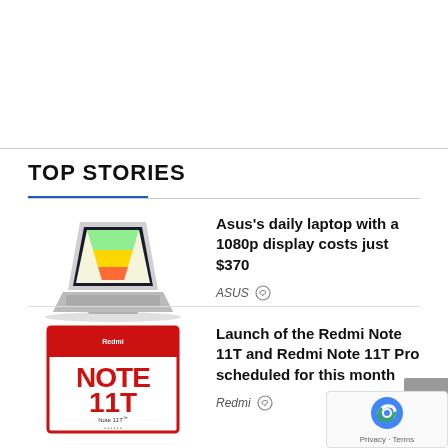TOP STORIES
[Figure (photo): Asus laptop with colorful display shown at an angle on white background]
Asus's daily laptop with a 1080p display costs just $370
ASUS
[Figure (photo): Redmi Note 11T product box with red and white design showing 'NOTE 11T' in large text]
Launch of the Redmi Note 11T and Redmi Note 11T Pro scheduled for this month
Redmi